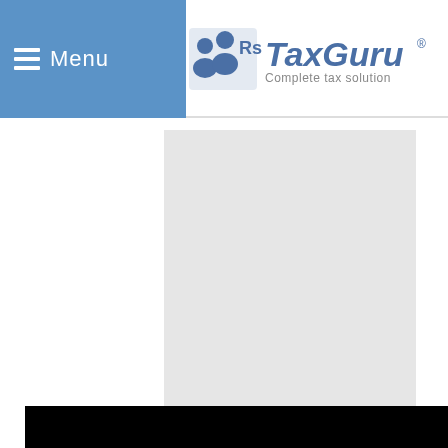Menu | TaxGuru - Complete tax solution
[Figure (screenshot): Gray advertisement banner placeholder rectangle]
[Figure (screenshot): Black video overlay popup with loading spinner and X close button, showing partial dark advertisement label bar with text 'EMENT']
[Clause 79]
Text of the Relevant Clause of the Finance Bill 202...
[Figure (screenshot): BitLife - Life Simulator ad overlay with close button and Install! link]
Cla...tion